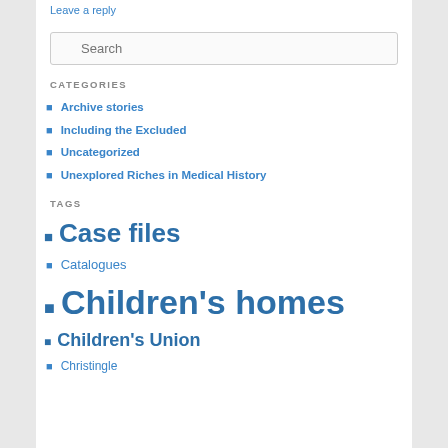Leave a reply
Search
CATEGORIES
Archive stories
Including the Excluded
Uncategorized
Unexplored Riches in Medical History
TAGS
Case files
Catalogues
Children's homes
Children's Union
Christingle